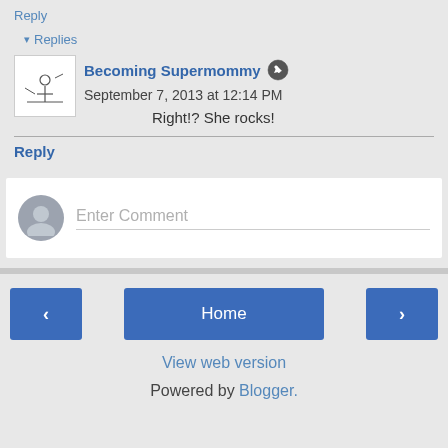Reply
▾ Replies
Becoming Supermommy  September 7, 2013 at 12:14 PM
Right!? She rocks!
Reply
[Figure (screenshot): Enter Comment input box with gray user avatar]
View web version
Powered by Blogger.